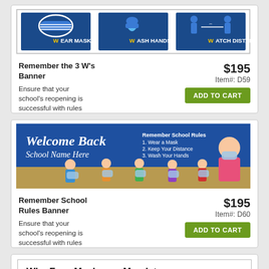[Figure (illustration): Three W's COVID banner showing Wear Mask, Wash Hands, Watch Distance icons in blue squares with yellow labels]
Remember the 3 W's Banner
$195
Item#: D59
Ensure that your school's reopening is successful with rules
ADD TO CART
[Figure (illustration): Welcome Back School Name Here banner with cartoon children wearing masks and COVID school rules listed]
Remember School Rules Banner
$195
Item#: D60
Ensure that your school's reopening is successful with rules
ADD TO CART
[Figure (illustration): Why Face Masks are Mandatory. COVID-19 Spread Risk banner (partial)]